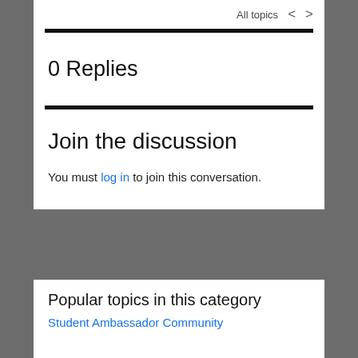All topics < >
0 Replies
Join the discussion
You must log in to join this conversation.
Popular topics in this category
Student Ambassador Community